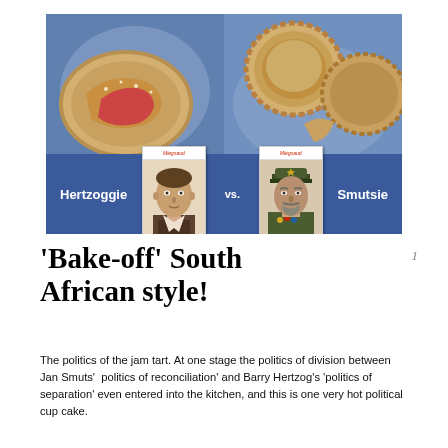[Figure (photo): Composite image showing two jam tarts/baked goods on a blue patterned plate background, with two vintage portrait stamp/card images of South African politicians overlaid on a blue banner. Left card labeled 'Hertzoggie', right card labeled 'Smutsie', with 'vs.' between them.]
'Bake-off' South African style!
The politics of the jam tart. At one stage the politics of division between Jan Smuts'  politics of reconciliation' and Barry Hertzog's 'politics of separation' even entered into the kitchen, and this is one very hot political cup cake.